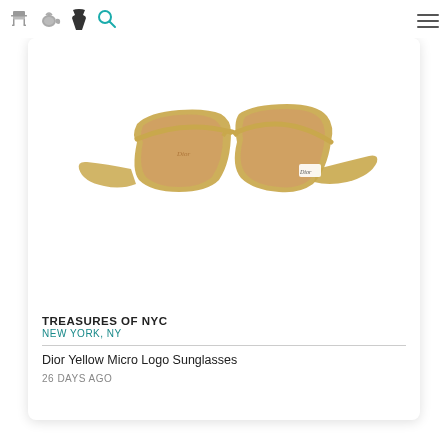Navigation bar with home, teapot, dress, search, and menu icons
[Figure (photo): Dior yellow/gold translucent sunglasses with micro logo on temple against white background, inside rounded-corner card]
TREASURES OF NYC
NEW YORK, NY
Dior Yellow Micro Logo Sunglasses
26 DAYS AGO